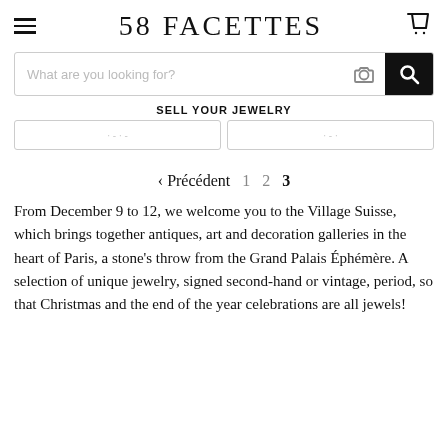58 FACETTES
What are you looking for?
SELL YOUR JEWELRY
‹ Précédent  1  2  3
From December 9 to 12, we welcome you to the Village Suisse, which brings together antiques, art and decoration galleries in the heart of Paris, a stone's throw from the Grand Palais Éphémère. A selection of unique jewelry, signed second-hand or vintage, period, so that Christmas and the end of the year celebrations are all jewels!